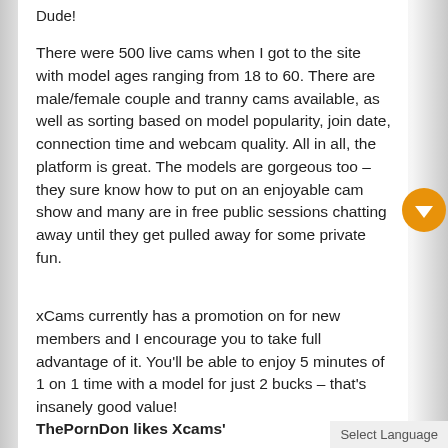Dude!
There were 500 live cams when I got to the site with model ages ranging from 18 to 60. There are male/female couple and tranny cams available, as well as sorting based on model popularity, join date, connection time and webcam quality. All in all, the platform is great. The models are gorgeous too – they sure know how to put on an enjoyable cam show and many are in free public sessions chatting away until they get pulled away for some private fun.
xCams currently has a promotion on for new members and I encourage you to take full advantage of it. You'll be able to enjoy 5 minutes of 1 on 1 time with a model for just 2 bucks – that's insanely good value!
ThePornDon likes Xcams'
Select Language